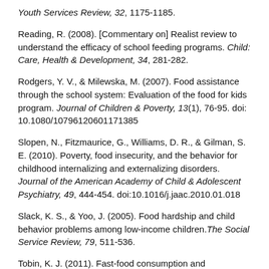Youth Services Review, 32, 1175-1185.
Reading, R. (2008). [Commentary on] Realist review to understand the efficacy of school feeding programs. Child: Care, Health & Development, 34, 281-282.
Rodgers, Y. V., & Milewska, M. (2007). Food assistance through the school system: Evaluation of the food for kids program. Journal of Children & Poverty, 13(1), 76-95. doi: 10.1080/10796120601171385
Slopen, N., Fitzmaurice, G., Williams, D. R., & Gilman, S. E. (2010). Poverty, food insecurity, and the behavior for childhood internalizing and externalizing disorders. Journal of the American Academy of Child & Adolescent Psychiatry, 49, 444-454. doi:10.1016/j.jaac.2010.01.018
Slack, K. S., & Yoo, J. (2005). Food hardship and child behavior problems among low-income children. The Social Service Review, 79, 511-536.
Tobin, K. J. (2011). Fast-food consumption and educational test scores in the USA. Child: Care, Health and…